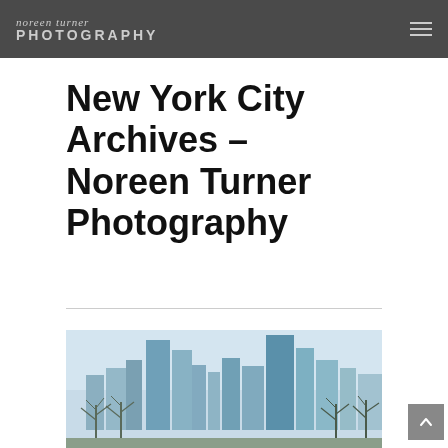noreen turner PHOTOGRAPHY
New York City Archives - Noreen Turner Photography
[Figure (photo): New York City skyline photograph showing tall skyscrapers and bare winter trees in the foreground, with a pale sky background]